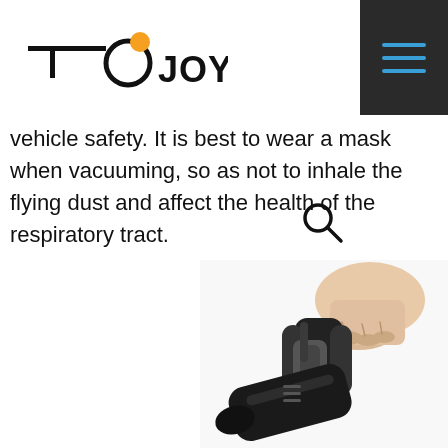[Figure (logo): TOPJOY brand logo with orange circular accent on the O]
[Figure (other): Dark hamburger menu button with three blue horizontal lines on dark background]
vehicle safety. It is best to wear a mask when vacuuming, so as not to inhale the flying dust and affect the health of the respiratory tract.
[Figure (other): Search magnifying glass icon]
[Figure (photo): A hand holding a black handheld vacuum cleaner, showing the handle and body of the device against white background]